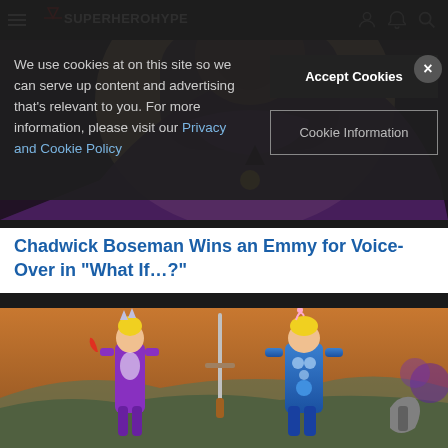SuperHeroHype
We use cookies at on this site so we can serve up content and advertising that's relevant to you. For more information, please visit our Privacy and Cookie Policy
Accept Cookies
Cookie Information
[Figure (screenshot): Animated dark-toned character (Killmonger/villain) with purple outfit from What If...? Marvel animation]
Chadwick Boseman Wins an Emmy for Voice-Over in “What If…?”
[Figure (photo): Action figures/toys of female and male superhero characters (She-Ra and He-Man style) against an outdoor backdrop]